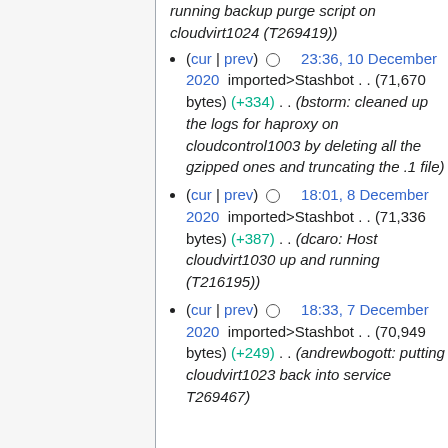running backup purge script on cloudvirt1024 (T269419))
(cur | prev) 23:36, 10 December 2020 imported>Stashbot . . (71,670 bytes) (+334) . . (bstorm: cleaned up the logs for haproxy on cloudcontrol1003 by deleting all the gzipped ones and truncating the .1 file)
(cur | prev) 18:01, 8 December 2020 imported>Stashbot . . (71,336 bytes) (+387) . . (dcaro: Host cloudvirt1030 up and running (T216195))
(cur | prev) 18:33, 7 December 2020 imported>Stashbot . . (70,949 bytes) (+249) . . (andrewbogott: putting cloudvirt1023 back into service T269467)